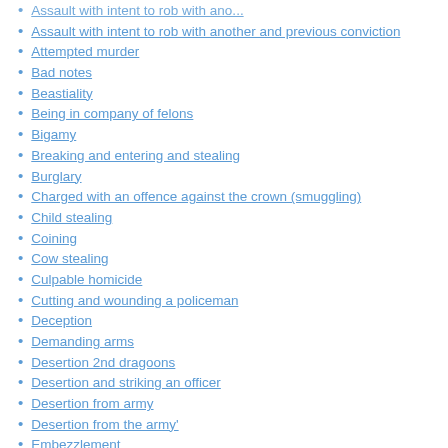Assault with intent to rob with ano...
Assault with intent to rob with another and previous conviction
Attempted murder
Bad notes
Beastiality
Being in company of felons
Bigamy
Breaking and entering and stealing
Burglary
Charged with an offence against the crown (smuggling)
Child stealing
Coining
Cow stealing
Culpable homicide
Cutting and wounding a policeman
Deception
Demanding arms
Desertion 2nd dragoons
Desertion and striking an officer
Desertion from army
Desertion from the army'
Embezzlement
Escaping from transportation
Faculige (felony/false pretences)
Felony
Firing a haystack
Forgery
Fraud
Grand larceny
Hamesucken/assault
Handling stolen goods